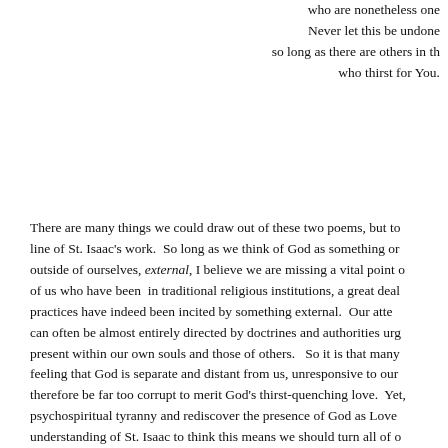who are nonetheless one
Never let this be undone
so long as there are others in th
who thirst for You.
There are many things we could draw out of these two poems, but to line of St. Isaac's work.  So long as we think of God as something or outside of ourselves, external, I believe we are missing a vital point of us who have been  in traditional religious institutions, a great deal practices have indeed been incited by something external.  Our atte can often be almost entirely directed by doctrines and authorities urg present within our own souls and those of others.   So it is that many feeling that God is separate and distant from us, unresponsive to our therefore be far too corrupt to merit God's thirst-quenching love.  Yet, psychospiritual tyranny and rediscover the presence of God as Love understanding of St. Isaac to think this means we should turn all of o energy only to that inward experience.  To accept that the Kingdom realization that it is within everyone else and all of creation, just as Je things external to us, certainly including other people, is directly conn Love itself.  Finally, my poem ends with a kind of Christian Bodhisattv